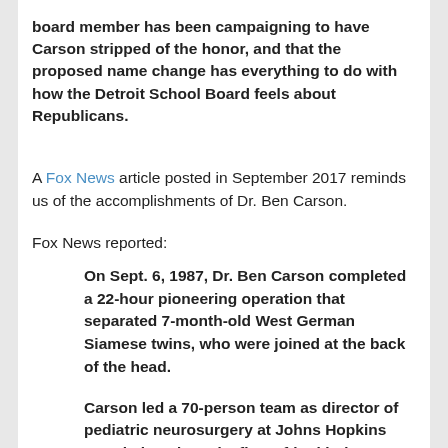board member has been campaigning to have Carson stripped of the honor, and that the proposed name change has everything to do with how the Detroit School Board feels about Republicans.
A Fox News article posted in September 2017 reminds us of the accomplishments of Dr. Ben Carson.
Fox News reported:
On Sept. 6, 1987, Dr. Ben Carson completed a 22-hour pioneering operation that separated 7-month-old West German Siamese twins, who were joined at the back of the head.
Carson led a 70-person team as director of pediatric neurosurgery at Johns Hopkins Hospital, and used a first-of-its-kind strategy that involved dropping the twins' temperatures down to 68 degrees to stop their hearts and bloodflow.